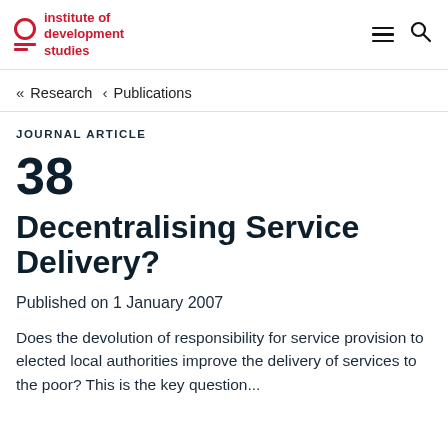Institute of development studies
« Research ‹ Publications
JOURNAL ARTICLE
38
Decentralising Service Delivery?
Published on 1 January 2007
Does the devolution of responsibility for service provision to elected local authorities improve the delivery of services to the poor? This is the key question...